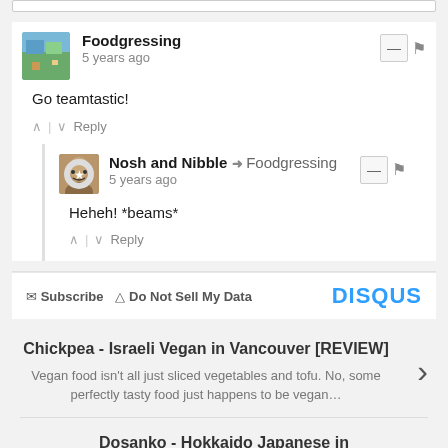Foodgressing · 5 years ago · Go teamtastic!
Nosh and Nibble → Foodgressing · 5 years ago · Heheh! *beams*
Subscribe  Do Not Sell My Data  DISQUS
Chickpea - Israeli Vegan in Vancouver [REVIEW]
Vegan food isn't all just sliced vegetables and tofu. No, some perfectly tasty food just happens to be vegan…
Dosanko - Hokkaido Japanese in